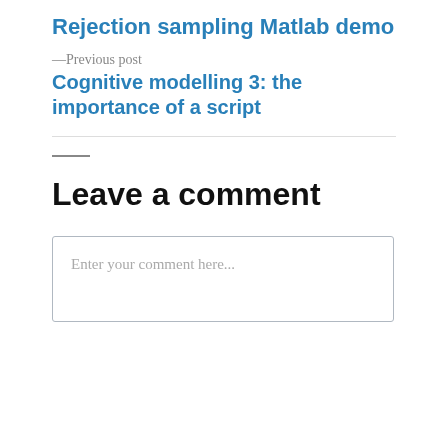Rejection sampling Matlab demo
—Previous post
Cognitive modelling 3: the importance of a script
Leave a comment
Enter your comment here...